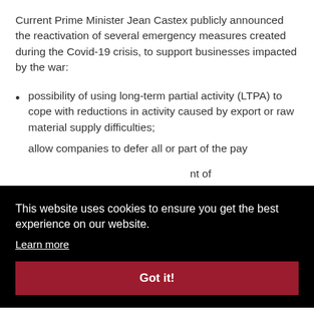Current Prime Minister Jean Castex publicly announced the reactivation of several emergency measures created during the Covid-19 crisis, to support businesses impacted by the war:
possibility of using long-term partial activity (LTPA) to cope with reductions in activity caused by export or raw material supply difficulties;
allow companies to defer all or part of the payment [of taxes due in the period]...
[...] using an [state-guaran]teed [loan]...
[Figure (screenshot): Cookie consent banner overlay with black background. Text: 'This website uses cookies to ensure you get the best experience on our website.' with a 'Learn more' link and a red 'Got it!' button.]
Recent News